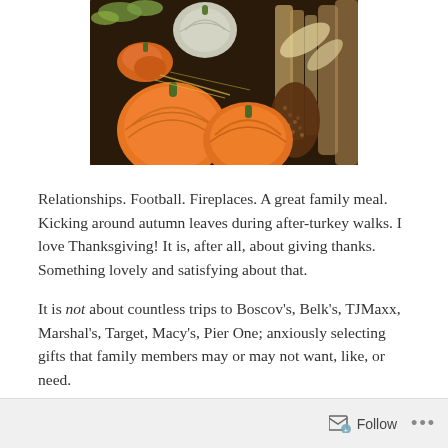[Figure (photo): Thanksgiving harvest photo showing orange pumpkins, a white/gray pumpkin, a gnarled orange gourd, dried corn, autumn leaves, and a wicker basket arrangement on a dark background.]
Relationships. Football. Fireplaces. A great family meal. Kicking around autumn leaves during after-turkey walks. I love Thanksgiving! It is, after all, about giving thanks. Something lovely and satisfying about that.
It is not about countless trips to Boscov's, Belk's, TJMaxx, Marshal's, Target, Macy's, Pier One; anxiously selecting gifts that family members may or may not want, like, or need.
Follow